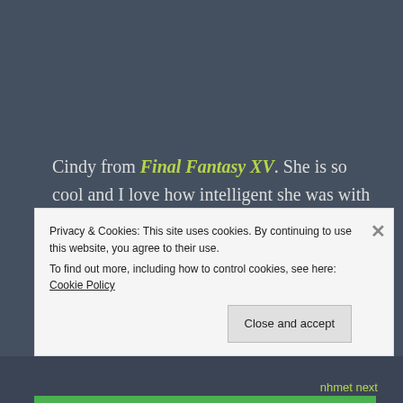Cindy from Final Fantasy XV. She is so cool and I love how intelligent she was with cars! I wanted to know more about her as a character, but most of the time is centered on Prompto, Noctis, Ignis, and Gladiolus.
For that matter, name a heroine whom you feel is always overshadowed by the other female characters in the story
Privacy & Cookies: This site uses cookies. By continuing to use this website, you agree to their use. To find out more, including how to control cookies, see here: Cookie Policy
Close and accept